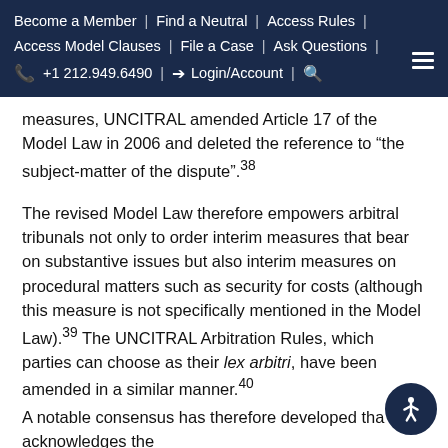Become a Member | Find a Neutral | Access Rules | Access Model Clauses | File a Case | Ask Questions | +1 212.949.6490 | Login/Account |
measures, UNCITRAL amended Article 17 of the Model Law in 2006 and deleted the reference to “the subject-matter of the dispute”.³⁸
The revised Model Law therefore empowers arbitral tribunals not only to order interim measures that bear on substantive issues but also interim measures on procedural matters such as security for costs (although this measure is not specifically mentioned in the Model Law).³⁹ The UNCITRAL Arbitration Rules, which parties can choose as their lex arbitri, have been amended in a similar manner.⁴⁰
A notable consensus has therefore developed that acknowledges the importance of security for costs in international arbitration proceedings and empowers arbitral tribunals to issue such